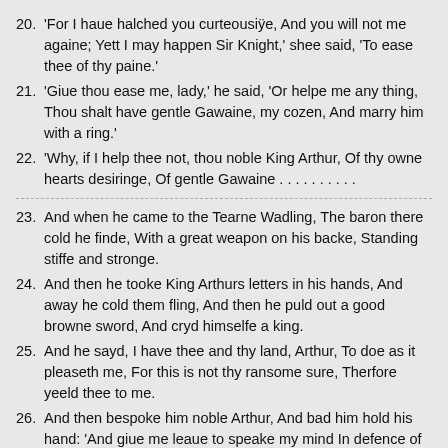20. 'For I haue halched you curteousiÿe, And you will not me againe; Yett I may happen Sir Knight,' shee said, 'To ease thee of thy paine.'
21. 'Giue thou ease me, lady,' he said, 'Or helpe me any thing, Thou shalt have gentle Gawaine, my cozen, And marry him with a ring.'
22. 'Why, if I help thee not, thou noble King Arthur, Of thy owne hearts desiringe, Of gentle Gawaine . . . . . . . . . .
23. And when he came to the Tearne Wadling, The baron there cold he finde, With a great weapon on his backe, Standing stiffe and stronge.
24. And then he tooke King Arthurs letters in his hands, And away he cold them fling, And then he puld out a good browne sword, And cryd himselfe a king.
25. And he sayd, I have thee and thy land, Arthur, To doe as it pleaseth me, For this is not thy ransome sure, Therfore yeeld thee to me.
26. And then bespoke him noble Arthur, And bad him hold his hand: 'And giue me leaue to speake my mind In defence of all my land.'
27. He said, As I came over a more, I see a lady where shee sate Betweene an oke and a green hollen; Shee was clad in red